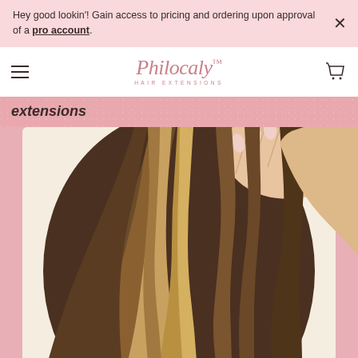Hey good lookin'! Gain access to pricing and ordering upon approval of a pro account.
[Figure (logo): Philocaly Hair Extensions logo in pink script with subtitle 'HAIR EXTENSIONS']
extensions
[Figure (photo): Woman with long wavy balayage hair extensions, hand raised through hair, warm brunette to blonde tones]